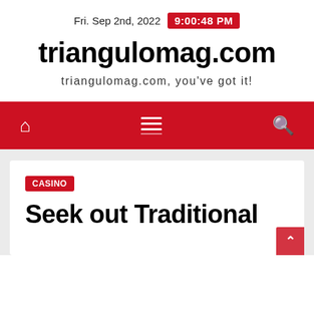Fri. Sep 2nd, 2022  9:00:48 PM
triangulomag.com
triangulomag.com, you've got it!
[Figure (other): Red navigation bar with home icon, hamburger menu icon, and search icon]
CASINO
Seek out Traditional